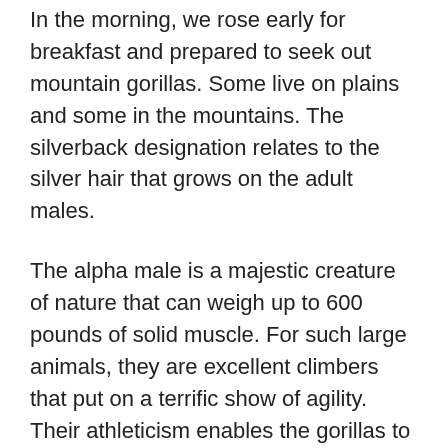In the morning, we rose early for breakfast and prepared to seek out mountain gorillas. Some live on plains and some in the mountains. The silverback designation relates to the silver hair that grows on the adult males.
The alpha male is a majestic creature of nature that can weigh up to 600 pounds of solid muscle. For such large animals, they are excellent climbers that put on a terrific show of agility. Their athleticism enables the gorillas to find nourishment in the lofty branches of bamboo trees. At times, we were just several feet from the gorillas and totally unprotected. The animals are accustomed to the presence of humans and totally ignored us. The alpha male, incredibly, walked right by me. I could have touched him, but I didn't think it was such a good idea. He was interested in his female mate at the time.